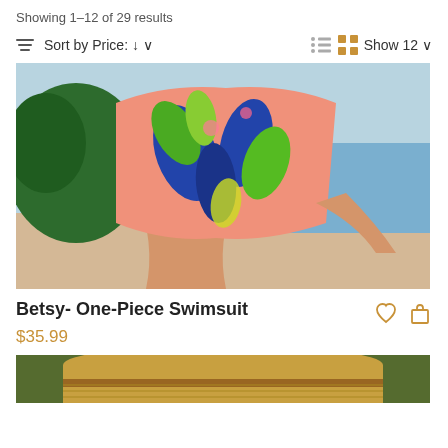Showing 1–12 of 29 results
Sort by Price: ↓ ∨   Show 12 ∨
[Figure (photo): Model wearing a pink tropical floral one-piece swimsuit on a beach with sand and water in background]
Betsy- One-Piece Swimsuit
$35.99
[Figure (photo): Partial view of second product image, showing a straw hat]